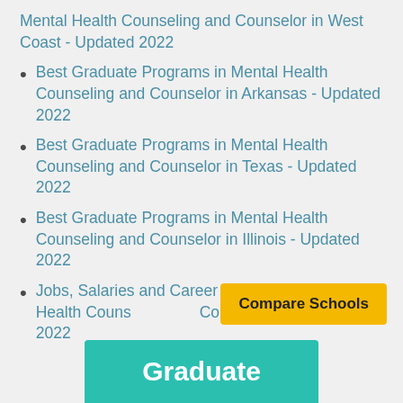Mental Health Counseling and Counselor in West Coast - Updated 2022
Best Graduate Programs in Mental Health Counseling and Counselor in Arkansas - Updated 2022
Best Graduate Programs in Mental Health Counseling and Counselor in Texas - Updated 2022
Best Graduate Programs in Mental Health Counseling and Counselor in Illinois - Updated 2022
Jobs, Salaries and Career after Masters in Mental Health Counseling and Counselor - Updated 2022
[Figure (other): Teal banner at bottom of page with white bold text reading 'Graduate']